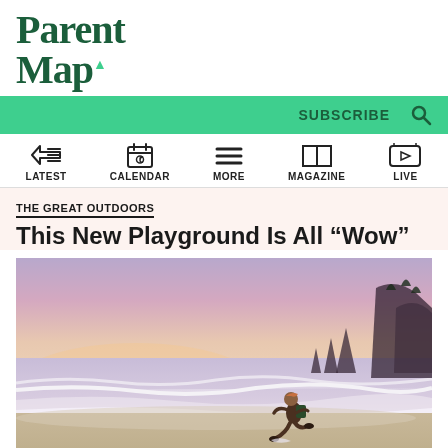ParentMap
SUBSCRIBE
THE GREAT OUTDOORS
This New Playground Is All “Wow”
[Figure (photo): Child running along a beach shoreline at sunset/dusk with dramatic purple and pink sky, ocean waves, and rocky sea stacks silhouetted in the background]